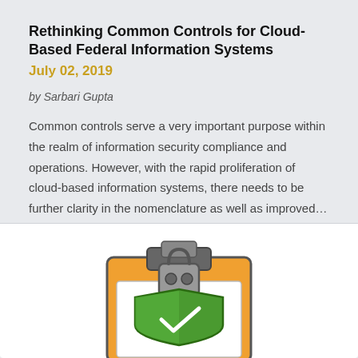Rethinking Common Controls for Cloud-Based Federal Information Systems
July 02, 2019
by Sarbari Gupta
Common controls serve a very important purpose within the realm of information security compliance and operations. However, with the rapid proliferation of cloud-based information systems, there needs to be further clarity in the nomenclature as well as improved…
[Figure (illustration): Illustration of a clipboard with a padlock and a shield with a green checkmark, representing information security compliance.]